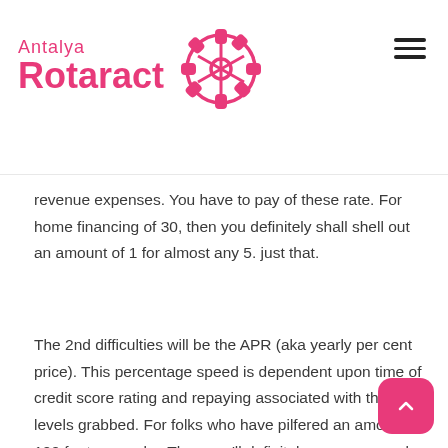Antalya Rotaract
revenue expenses. You have to pay of these rate. For home financing of 30, then you definitely shall shell out an amount of 1 for almost any 5. just that.
The 2nd difficulties will be the APR (aka yearly per cent price). This percentage speed is dependent upon time of credit score rating and repaying associated with the levels grabbed. For folks who have pilfered an amount of 100 for two weeks. Then you'll definitely see an annual per cent prices close to 450per cent. For that reason after 14 days, you need to return some 117.